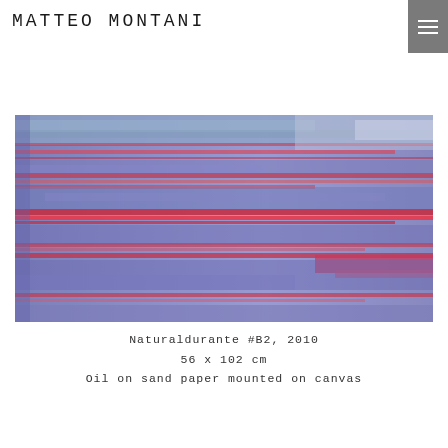MATTEO MONTANI
[Figure (photo): Abstract painting with horizontal brushstrokes in blue, red, and pink tones. Oil on sandpaper mounted on canvas, showing layered stripes of red and blue-violet colors across the entire surface.]
Naturaldurante #B2, 2010
56 x 102 cm
Oil on sand paper mounted on canvas